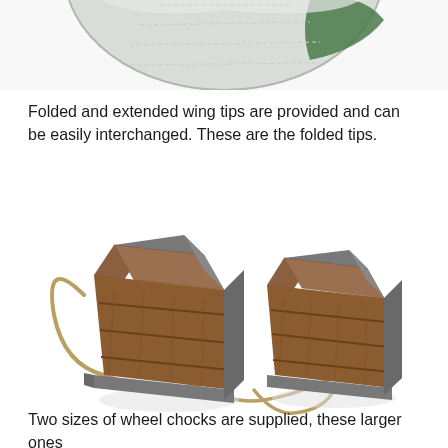[Figure (photo): Partial view of a circular model aircraft component (wing tip) with white and green coloring, cropped at top of page.]
Folded and extended wing tips are provided and can be easily interchanged. These are the folded tips.
[Figure (photo): Two wooden wheel chocks connected by a rope/cord, sitting on a white background. The chocks are made of brown wood with grey metal corners.]
Two sizes of wheel chocks are supplied, these larger ones